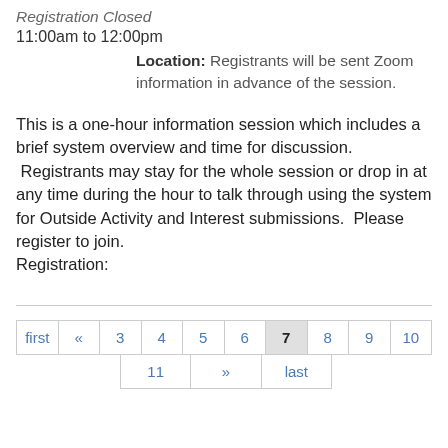Registration Closed
11:00am to 12:00pm
Location: Registrants will be sent Zoom information in advance of the session.
This is a one-hour information session which includes a brief system overview and time for discussion. Registrants may stay for the whole session or drop in at any time during the hour to talk through using the system for Outside Activity and Interest submissions. Please register to join.
Registration:
first « 3 4 5 6 7 8 9 10 | 11 » last